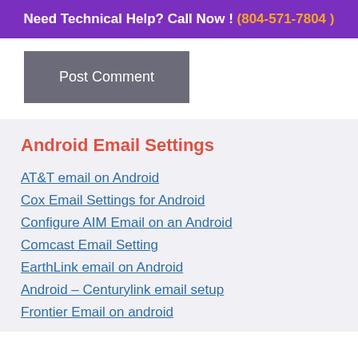Need Technical Help? Call Now ! (804-571-7804 )
[Figure (other): Post Comment button (gray button with white text)]
Android Email Settings
AT&T email on Android
Cox Email Settings for Android
Configure AIM Email on an Android
Comcast Email Setting
EarthLink email on Android
Android – Centurylink email setup
Frontier Email on android